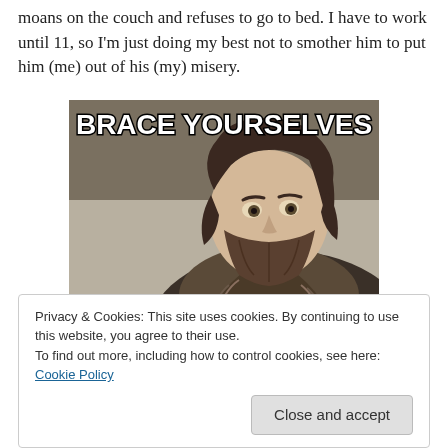moans on the couch and refuses to go to bed. I have to work until 11, so I'm just doing my best not to smother him to put him (me) out of his (my) misery.
[Figure (illustration): Brace Yourselves meme image: a bearded man in fur-collared armor with bold white Impact-font text 'BRACE YOURSELVES' across the top.]
Privacy & Cookies: This site uses cookies. By continuing to use this website, you agree to their use.
To find out more, including how to control cookies, see here: Cookie Policy
Close and accept